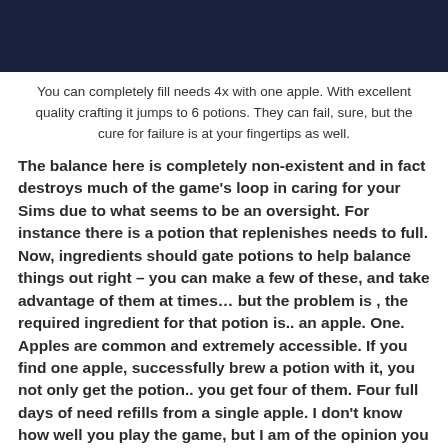[Figure (photo): Dark navy blue banner image at the top of the page]
You can completely fill needs 4x with one apple. With excellent quality crafting it jumps to 6 potions. They can fail, sure, but the cure for failure is at your fingertips as well.
The balance here is completely non-existent and in fact destroys much of the game's loop in caring for your Sims due to what seems to be an oversight. For instance there is a potion that replenishes needs to full. Now, ingredients should gate potions to help balance things out right – you can make a few of these, and take advantage of them at times… but the problem is , the required ingredient for that potion is.. an apple. One. Apples are common and extremely accessible. If you find one apple, successfully brew a potion with it, you not only get the potion.. you get four of them. Four full days of need refills from a single apple. I don't know how well you play the game, but I am of the opinion you will most certainly pick up